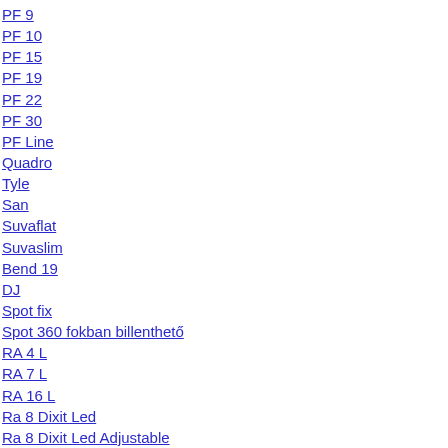PF 9
PF 10
PF 15
PF 19
PF 22
PF 30
PF Line
Quadro
Tyle
San
Suvaflat
Suvaslim
Bend 19
DJ
Spot fix
Spot 360 fokban billenthető
RA 4 L
RA 7 L
RA 16 L
Ra 8 Dixit Led
Ra 8 Dixit Led Adjustable
RA 8 TL Dixit Led
RA 8 Q Dixit Led
RA 11 Dixit Led
RA 11 Dixit Led Adjustable